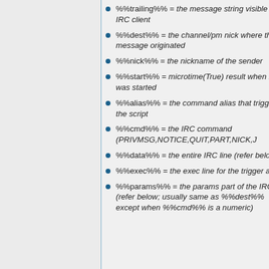%%trailing%% = the message string visible in an IRC client
%%dest%% = the channel/pm nick where the message originated
%%nick%% = the nickname of the sender
%%start%% = microtime(True) result when bot was started
%%alias%% = the command alias that triggered the script
%%cmd%% = the IRC command (PRIVMSG,NOTICE,QUIT,PART,NICK,J
%%data%% = the entire IRC line (refer below)
%%exec%% = the exec line for the trigger alias
%%params%% = the params part of the IRC line (refer below; usually same as %%dest%% except when %%cmd%% is a numeric)